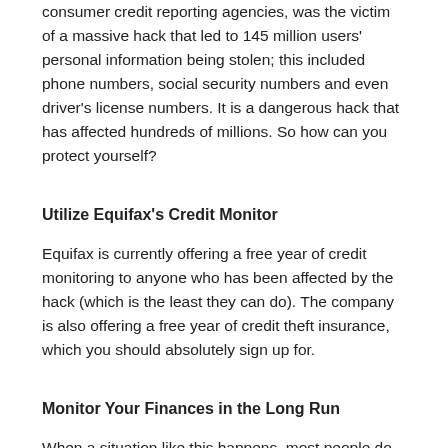consumer credit reporting agencies, was the victim of a massive hack that led to 145 million users' personal information being stolen; this included phone numbers, social security numbers and even driver's license numbers. It is a dangerous hack that has affected hundreds of millions. So how can you protect yourself?
Utilize Equifax's Credit Monitor
Equifax is currently offering a free year of credit monitoring to anyone who has been affected by the hack (which is the least they can do). The company is also offering a free year of credit theft insurance, which you should absolutely sign up for.
Monitor Your Finances in the Long Run
When a situation like this happens, most people do one